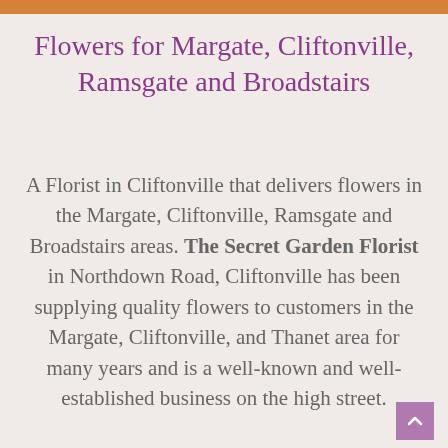Flowers for Margate, Cliftonville, Ramsgate and Broadstairs
A Florist in Cliftonville that delivers flowers in the Margate, Cliftonville, Ramsgate and Broadstairs areas. The Secret Garden Florist in Northdown Road, Cliftonville has been supplying quality flowers to customers in the Margate, Cliftonville, and Thanet area for many years and is a well-known and well-established business on the high street.